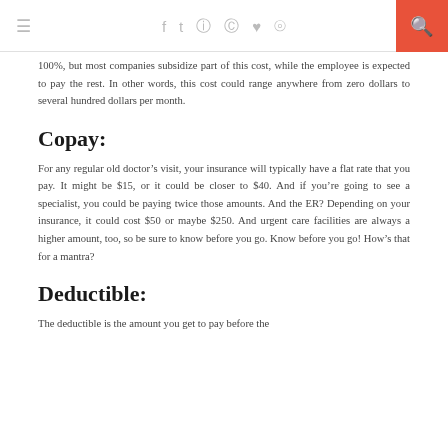≡  f  𝕥  📷  𝕡  ♥  ))) 🔍
100%, but most companies subsidize part of this cost, while the employee is expected to pay the rest. In other words, this cost could range anywhere from zero dollars to several hundred dollars per month.
Copay:
For any regular old doctor's visit, your insurance will typically have a flat rate that you pay. It might be $15, or it could be closer to $40. And if you're going to see a specialist, you could be paying twice those amounts. And the ER? Depending on your insurance, it could cost $50 or maybe $250. And urgent care facilities are always a higher amount, too, so be sure to know before you go. Know before you go! How's that for a mantra?
Deductible:
The deductible is the amount you get to pay before the